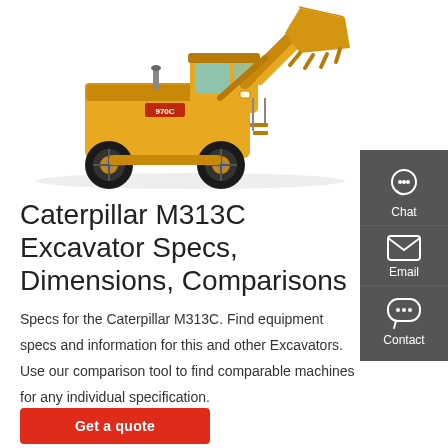[Figure (photo): Yellow Caterpillar wheel loader / excavator (model 970C) photographed on white background, showing full side/front view with large bucket raised.]
Caterpillar M313C Excavator Specs, Dimensions, Comparisons
Specs for the Caterpillar M313C. Find equipment specs and information for this and other Excavators. Use our comparison tool to find comparable machines for any individual specification.
Get a quote